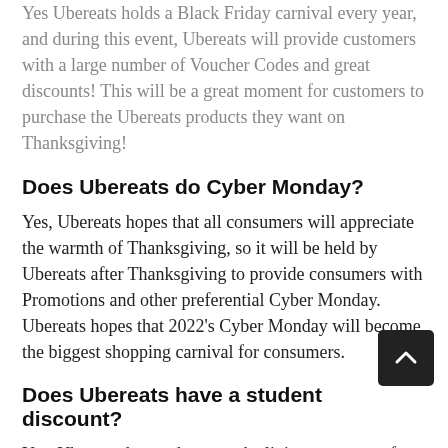Yes Ubereats holds a Black Friday carnival every year, and during this event, Ubereats will provide customers with a large number of Voucher Codes and great discounts! This will be a great moment for customers to purchase the Ubereats products they want on Thanksgiving!
Does Ubereats do Cyber Monday?
Yes, Ubereats hopes that all consumers will appreciate the warmth of Thanksgiving, so it will be held by Ubereats after Thanksgiving to provide consumers with Promotions and other preferential Cyber Monday. Ubereats hopes that 2022's Cyber Monday will become the biggest shopping carnival for consumers.
Does Ubereats have a student discount?
Yes. Ubereats knows because the living expenses of college students and high school students are currently supported by their parents, the amount of